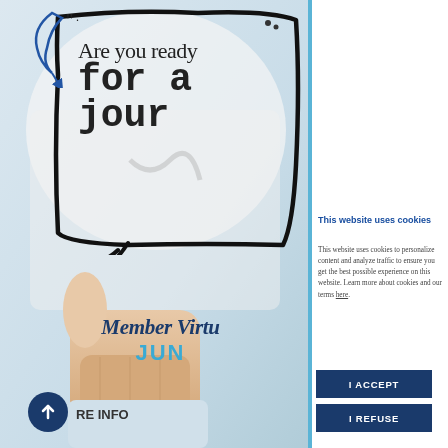[Figure (photo): Medical professional (doctor) giving thumbs up, background image on left side of page with hand-drawn speech bubble outline and blue ribbon decoration]
Are you ready for a jour
Member Virtu
JUN
This website uses cookies
This website uses cookies to personalize content and analyze traffic to ensure you get the best possible experience on this website. Learn more about cookies and our terms here.
I ACCEPT
I REFUSE
MORE INFO